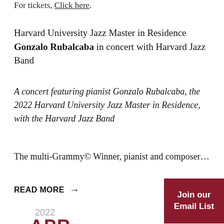For tickets, Click here.
Harvard University Jazz Master in Residence Gonzalo Rubalcaba in concert with Harvard Jazz Band
A concert featuring pianist Gonzalo Rubalcaba, the 2022 Harvard University Jazz Master in Residence, with the Harvard Jazz Band
The multi-Grammy© Winner, pianist and composer…
READ MORE →
Join our Email List
2022
APR